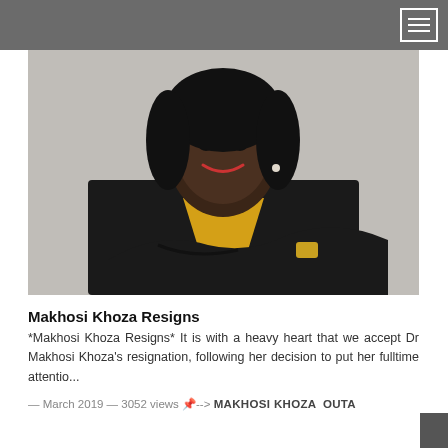[Figure (photo): Professional headshot of Dr. Makhosi Khoza, a woman in a black blazer and yellow top, arms crossed, smiling, against a grey background.]
Makhosi Khoza Resigns
*Makhosi Khoza Resigns* It is with a heavy heart that we accept Dr Makhosi Khoza's resignation, following her decision to put her fulltime attentio...
— March 2019 — 3052 views  --> MAKHOSI KHOZA  OUTA